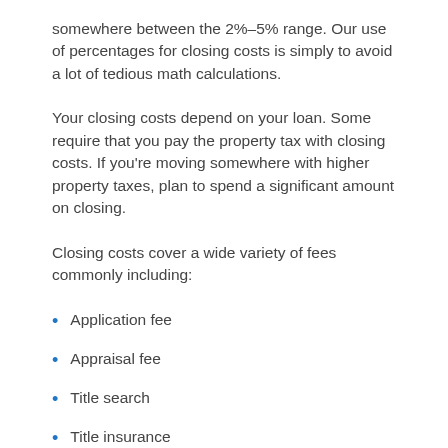somewhere between the 2%-5% range. Our use of percentages for closing costs is simply to avoid a lot of tedious math calculations.
Your closing costs depend on your loan. Some require that you pay the property tax with closing costs. If you’re moving somewhere with higher property taxes, plan to spend a significant amount on closing.
Closing costs cover a wide variety of fees commonly including:
Application fee
Appraisal fee
Title search
Title insurance